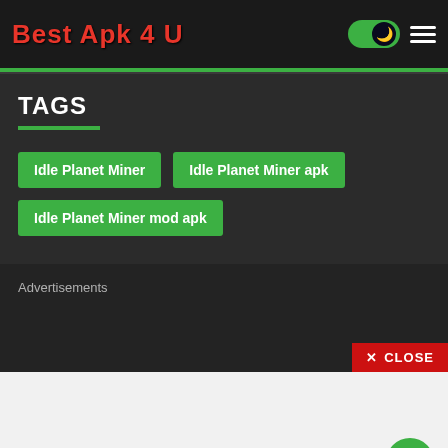Best Apk 4 U
TAGS
Idle Planet Miner
Idle Planet Miner apk
Idle Planet Miner mod apk
Advertisements
CLOSE